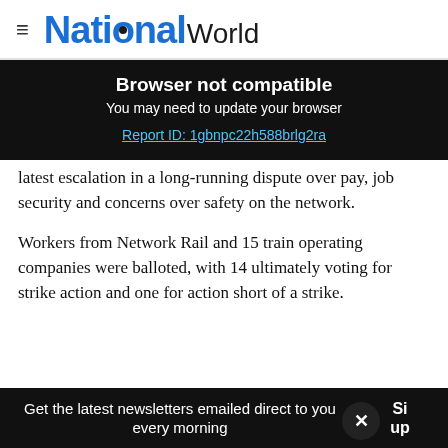≡  NationalWorld
Browser not compatible
You may need to update your browser
Report ID: 1gbnpc22h588brlg2ra
latest escalation in a long-running dispute over pay, job security and concerns over safety on the network.
Workers from Network Rail and 15 train operating companies were balloted, with 14 ultimately voting for strike action and one for action short of a strike.
Get the latest newsletters emailed direct to you every morning   Sign up